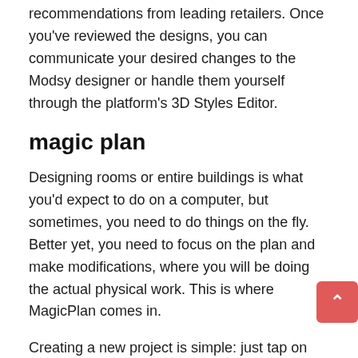recommendations from leading retailers. Once you've reviewed the designs, you can communicate your desired changes to the Modsy designer or handle them yourself through the platform's 3D Styles Editor.
magic plan
Designing rooms or entire buildings is what you'd expect to do on a computer, but sometimes, you need to do things on the fly. Better yet, you need to focus on the plan and make modifications, where you will be doing the actual physical work. This is where MagicPlan comes in.
Creating a new project is simple: just tap on the big blue '+'. You have the option to name your project and even add the address where the work will be done, but all of that is optional. Tap the other blue mark to start designing. This is where you will see one of MagicPlan's cool features: 'Scan with Camera'. If you're in the room you'll be working in, you can use AR (augmented reality) to let the app scan and measure the room for you.
Final words: Best House and